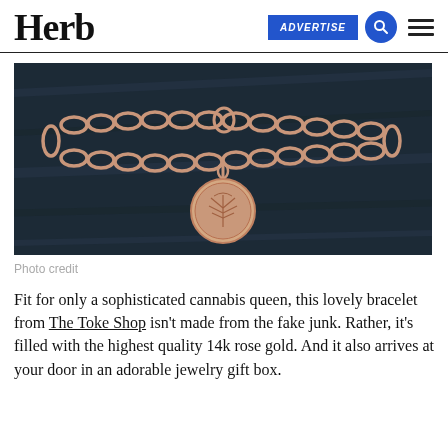Herb
[Figure (photo): A rose gold chain bracelet with a round coin charm engraved with a cannabis leaf, photographed on a dark wooden surface.]
Photo credit
Fit for only a sophisticated cannabis queen, this lovely bracelet from The Toke Shop isn't made from the fake junk. Rather, it's filled with the highest quality 14k rose gold. And it also arrives at your door in an adorable jewelry gift box.